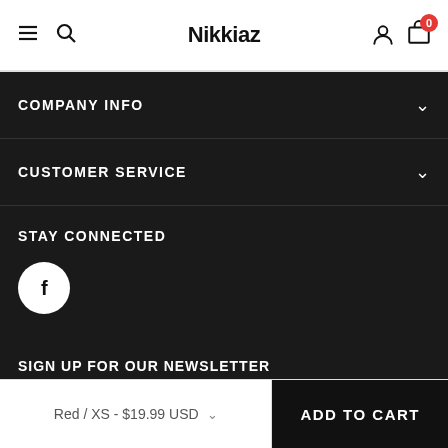Nikkiaz
COMPANY INFO
CUSTOMER SERVICE
STAY CONNECTED
[Figure (logo): Facebook circular icon (white circle with dark f logo)]
JOIN US
[Figure (other): Facebook Like 46 and Share buttons]
SIGN UP FOR OUR NEWSLETTER
Red / XS - $19.99 USD   ADD TO CART